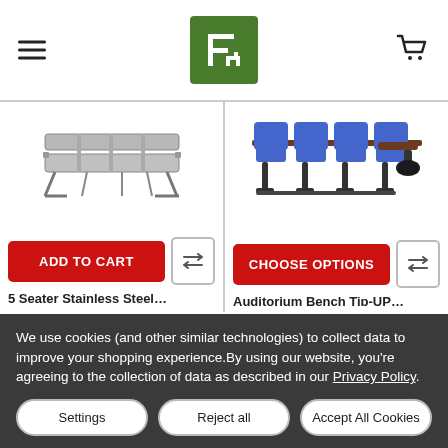Navigation header with hamburger menu, logo, and cart icon
[Figure (photo): 5-seater metal/steel waiting area bench with armrests, gray color]
[Figure (photo): Auditorium bench with 4 blue upholstered seats and wooden/black tablet arms, black metal frame]
We use cookies (and other similar technologies) to collect data to improve your shopping experience.By using our website, you're agreeing to the collection of data as described in our Privacy Policy.
Settings
Reject all
Accept All Cookies